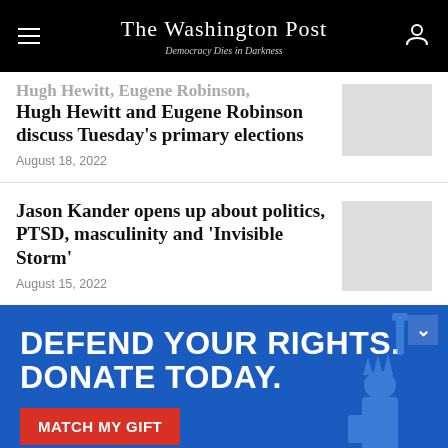The Washington Post — Democracy Dies in Darkness
Hugh Hewitt and Eugene Robinson discuss Tuesday's primary elections
August 18, 2022
Jason Kander opens up about politics, PTSD, masculinity and 'Invisible Storm'
August 15, 2022
[Figure (infographic): ACLU advertisement banner: 'DEFEND YOUR RIGHTS. DONATE TODAY.' with a red 'MATCH MY GIFT' button and Statue of Liberty image on blue background]